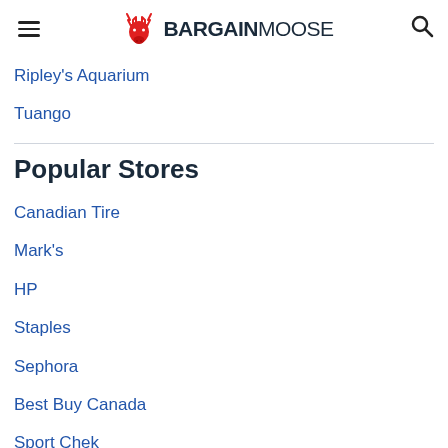BARGAINMOOSE
Ripley's Aquarium
Tuango
Popular Stores
Canadian Tire
Mark's
HP
Staples
Sephora
Best Buy Canada
Sport Chek